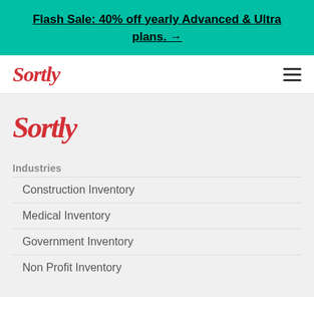Flash Sale: 40% off yearly Advanced & Ultra plans. →
[Figure (logo): Sortly logo in red cursive script in navigation bar]
[Figure (logo): Sortly logo in red cursive script in main content area]
Industries
Construction Inventory
Medical Inventory
Government Inventory
Non Profit Inventory